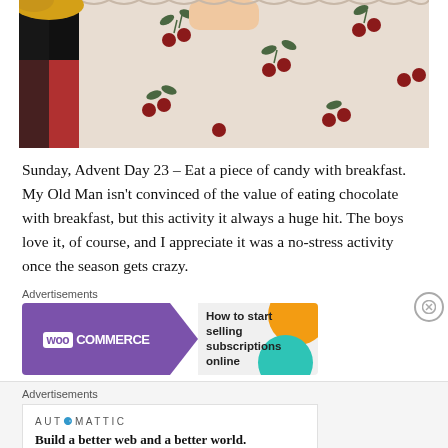[Figure (photo): Close-up photo of a hand holding something above a floral-patterned cloth with red cherries and green leaves, with a red background on the left side.]
Sunday, Advent Day 23 – Eat a piece of candy with breakfast. My Old Man isn't convinced of the value of eating chocolate with breakfast, but this activity it always a huge hit. The boys love it, of course, and I appreciate it was a no-stress activity once the season gets crazy.
Advertisements
[Figure (screenshot): WooCommerce advertisement banner: purple left section with WooCommerce logo and teal arrow, right section with text 'How to start selling subscriptions online' and orange/teal decorative circles.]
Advertisements
[Figure (screenshot): Automattic advertisement: logo text 'AUTOMATTIC' with colored dot, tagline 'Build a better web and a better world.']